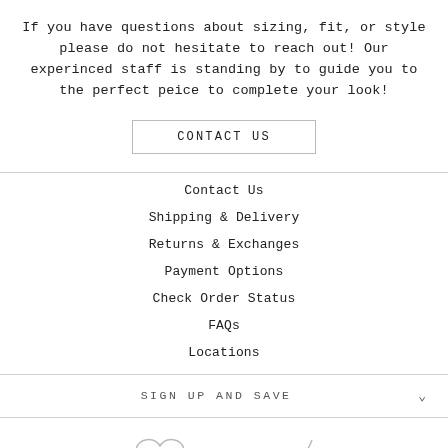If you have questions about sizing, fit, or style please do not hesitate to reach out! Our experinced staff is standing by to guide you to the perfect peice to complete your look!
CONTACT US
Contact Us
Shipping & Delivery
Returns & Exchanges
Payment Options
Check Order Status
FAQs
Locations
SIGN UP AND SAVE
[Figure (illustration): Partial decorative script/logo icons at bottom of page]